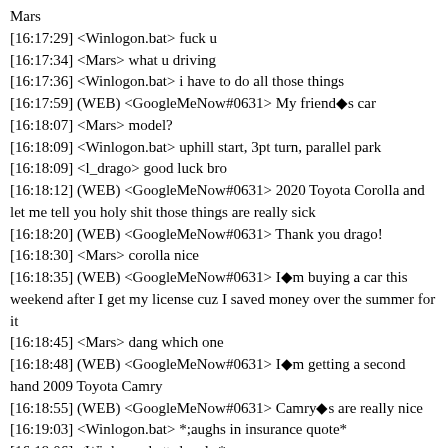Mars
[16:17:29] <Winlogon.bat> fuck u
[16:17:34] <Mars> what u driving
[16:17:36] <Winlogon.bat> i have to do all those things
[16:17:59] (WEB) <GoogleMeNow#0631> My friend◆s car
[16:18:07] <Mars> model?
[16:18:09] <Winlogon.bat> uphill start, 3pt turn, parallel park
[16:18:09] <l_drago> good luck bro
[16:18:12] (WEB) <GoogleMeNow#0631> 2020 Toyota Corolla and let me tell you holy shit those things are really sick
[16:18:20] (WEB) <GoogleMeNow#0631> Thank you drago!
[16:18:30] <Mars> corolla nice
[16:18:35] (WEB) <GoogleMeNow#0631> I◆m buying a car this weekend after I get my license cuz I saved money over the summer for it
[16:18:45] <Mars> dang which one
[16:18:48] (WEB) <GoogleMeNow#0631> I◆m getting a second hand 2009 Toyota Camry
[16:18:55] (WEB) <GoogleMeNow#0631> Camry◆s are really nice
[16:19:03] <Winlogon.bat> *;aughs in insurance quote*
[16:19:06] <Winlogon.bat> laughs*
[16:19:08] <Mars> oh i love that car's interior smell for some reason
[16:19:36] (WEB) <GoogleMeNow#0631> Yeah my insurance is